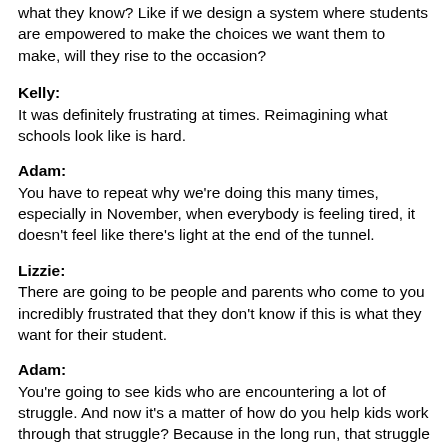what they know? Like if we design a system where students are empowered to make the choices we want them to make, will they rise to the occasion?
Kelly:
It was definitely frustrating at times. Reimagining what schools look like is hard.
Adam:
You have to repeat why we're doing this many times, especially in November, when everybody is feeling tired, it doesn't feel like there's light at the end of the tunnel.
Lizzie:
There are going to be people and parents who come to you incredibly frustrated that they don't know if this is what they want for their student.
Adam:
You're going to see kids who are encountering a lot of struggle. And now it's a matter of how do you help kids work through that struggle? Because in the long run, that struggle is much better for them because they have mentors who are there to help support them.